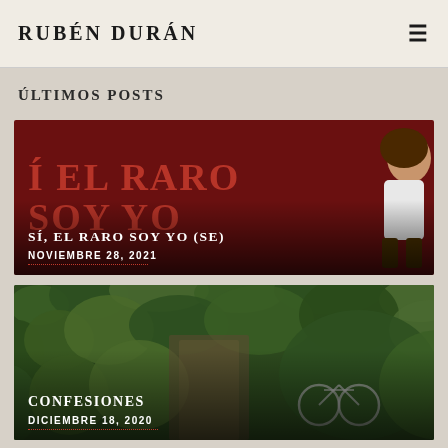RUBÉN DURÁN
ÚLTIMOS POSTS
[Figure (photo): Blog post thumbnail with red illustrated background showing 'EL RARO SOY YO' text and an animated character]
SÍ, EL RARO SOY YO (SE)
NOVIEMBRE 28, 2021
[Figure (photo): Blog post thumbnail with green garden/ivy background]
CONFESIONES
DICIEMBRE 18, 2020